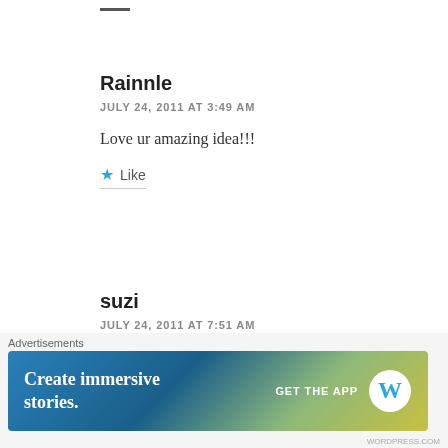Rainnle
JULY 24, 2011 AT 3:49 AM
Love ur amazing idea!!!
Like
suzi
JULY 24, 2011 AT 7:51 AM
wow! Good luck! I may join you and try to do the
Advertisements
[Figure (screenshot): Advertisement banner: 'Create immersive stories. GET THE APP' with WordPress logo, gradient blue-green-yellow background]